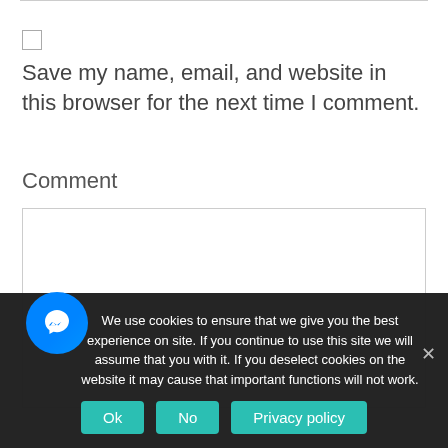Save my name, email, and website in this browser for the next time I comment.
Comment
[Figure (screenshot): Empty comment text area input box with light border]
We use cookies to ensure that we give you the best experience on site. If you continue to use this site we will assume that you with it. If you deselect cookies on the website it may cause that important functions will not work.
Ok | No | Privacy policy